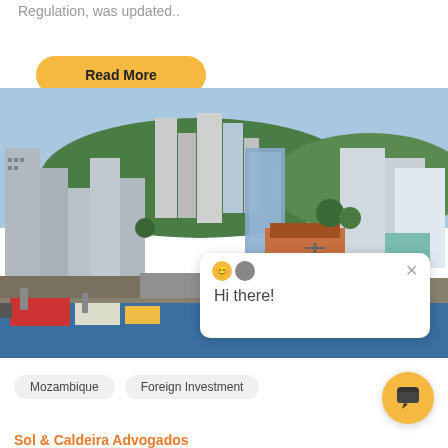Regulation, was updated..
Read More
[Figure (photo): Aerial view of Maputo city skyline with harbor and boats in the foreground, tall modern buildings and greenery in the background]
Hi there!
Mozambique
Foreign Investment
Sol & Caldeira Advogados